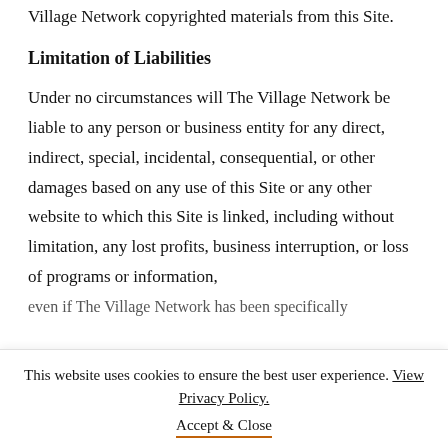Village Network copyrighted materials from this Site.
Limitation of Liabilities
Under no circumstances will The Village Network be liable to any person or business entity for any direct, indirect, special, incidental, consequential, or other damages based on any use of this Site or any other website to which this Site is linked, including without limitation, any lost profits, business interruption, or loss of programs or information, even if The Village Network has been specifically...
This website uses cookies to ensure the best user experience. View Privacy Policy.
Accept & Close